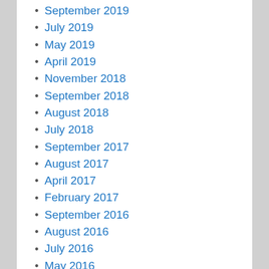September 2019
July 2019
May 2019
April 2019
November 2018
September 2018
August 2018
July 2018
September 2017
August 2017
April 2017
February 2017
September 2016
August 2016
July 2016
May 2016
April 2016
March 2016
August 2015
June 2015
April 2015
March 2015